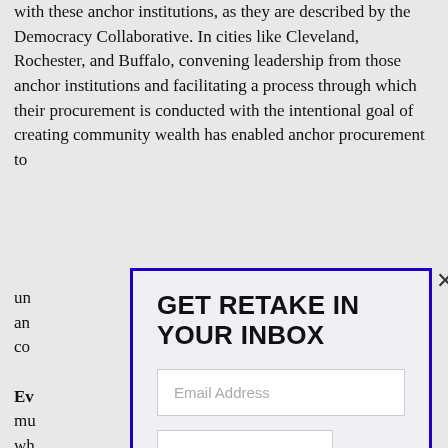with these anchor institutions, as they are described by the Democracy Collaborative. In cities like Cleveland, Rochester, and Buffalo, convening leadership from those anchor institutions and facilitating a process through which their procurement is conducted with the intentional goal of creating community wealth has enabled anchor procurement to un... an... co...
[Figure (other): Email subscription modal popup with blue border. Contains title 'GET RETAKE IN YOUR INBOX', an email address input field, a SUBSCRIBE button, and the text 'Join 4,165 other subscribers'. A close (X) button is in the top-right corner.]
Ev... mu... wh... po... the... en... Sm... de... sti... Ba... foc... 93...